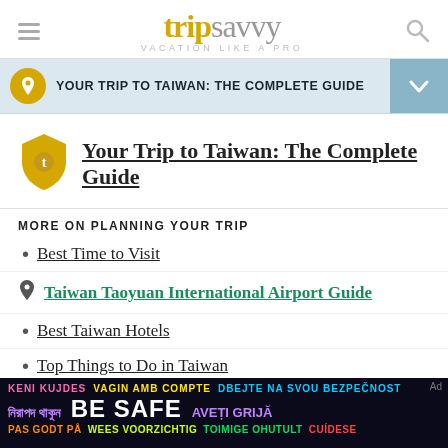[Figure (logo): TripSavvy logo with hamburger menu and search icon. Logo reads 'trip' in gold bold serif and 'savvy' in gray, with tagline 'VACATION LIKE A PRO' below.]
YOUR TRIP TO TAIWAN: THE COMPLETE GUIDE
Your Trip to Taiwan: The Complete Guide
MORE ON PLANNING YOUR TRIP
Best Time to Visit
Taiwan Taoyuan International Airport Guide
Best Taiwan Hotels
Top Things to Do in Taiwan
[Figure (infographic): Dark blue/black ad banner with multilingual 'BE SAFE' text in various colors and languages including English, Bengali, Catalan, Czech, Romanian, Romanian, Dutch, Finnish, and Spanish.]